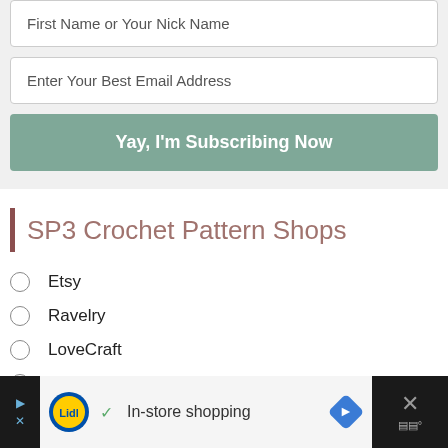First Name or Your Nick Name
Enter Your Best Email Address
Yay, I'm Subscribing Now
SP3 Crochet Pattern Shops
Etsy
Ravelry
LoveCraft
Ribblr
In-store shopping